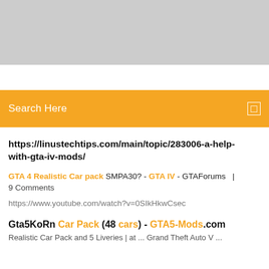[Figure (other): Gray banner area at the top of the page]
[Figure (other): Orange search bar with 'Search Here' placeholder text and a small square icon on the right]
https://linustechtips.com/main/topic/283006-a-help-with-gta-iv-mods/
GTA 4 Realistic Car pack SMPA30? - GTA IV - GTAForums  |  9 Comments
https://www.youtube.com/watch?v=0SIkHkwCsec
Gta5KoRn Car Pack (48 cars) - GTA5-Mods.com
Realistic Car Pack and 5 Liveries | at ... Grand Theft Auto V ...